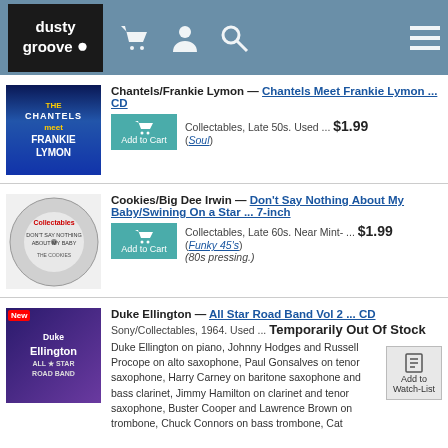dusty groove — navigation header with cart, user, search, menu icons
Chantels/Frankie Lymon — Chantels Meet Frankie Lymon ... CD
Collectables, Late 50s. Used ... $1.99 (Soul)
Cookies/Big Dee Irwin — Don't Say Nothing About My Baby/Swining On a Star ... 7-inch
Collectables, Late 60s. Near Mint- ... $1.99 (Funky 45's) (80s pressing.)
Duke Ellington — All Star Road Band Vol 2 ... CD
Sony/Collectables, 1964. Used ... Temporarily Out Of Stock
Duke Ellington on piano, Johnny Hodges and Russell Procope on alto saxophone, Paul Gonsalves on tenor saxophone, Harry Carney on baritone saxophone and bass clarinet, Jimmy Hamilton on clarinet and tenor saxophone, Buster Cooper and Lawrence Brown on trombone, Chuck Connors on bass trombone, Cat